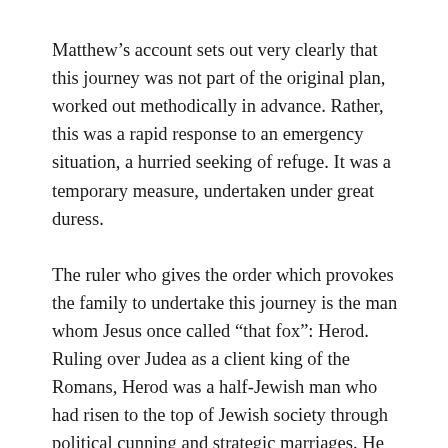Matthew's account sets out very clearly that this journey was not part of the original plan, worked out methodically in advance. Rather, this was a rapid response to an emergency situation, a hurried seeking of refuge. It was a temporary measure, undertaken under great duress.
The ruler who gives the order which provokes the family to undertake this journey is the man whom Jesus once called “that fox”: Herod. Ruling over Judea as a client king of the Romans, Herod was a half-Jewish man who had risen to the top of Jewish society through political cunning and strategic marriages. He had a reputation for violent brutality.